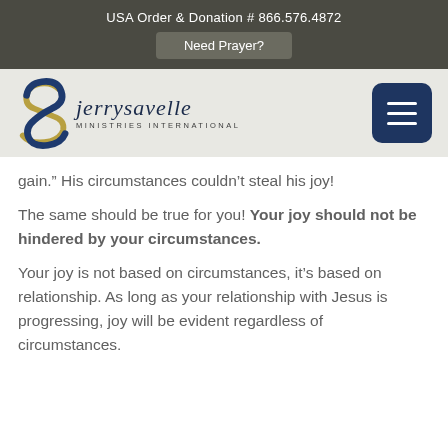USA Order & Donation # 866.576.4872
Need Prayer?
[Figure (logo): Jerry Savelle Ministries International logo with stylized S ribbon in blue and gold and text 'jerrysavelle MINISTRIES INTERNATIONAL']
gain.” His circumstances couldn’t steal his joy!
The same should be true for you! Your joy should not be hindered by your circumstances.
Your joy is not based on circumstances, it’s based on relationship. As long as your relationship with Jesus is progressing, joy will be evident regardless of circumstances.